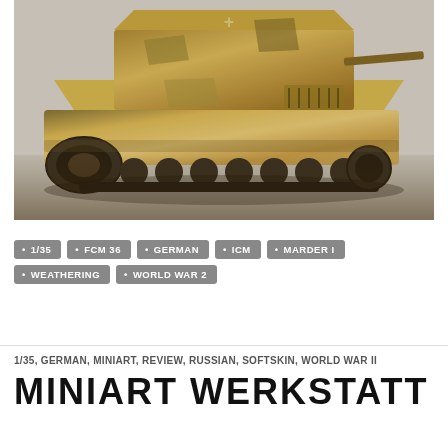[Figure (photo): Scale model photo of a German Marder I tank destroyer (1/35 scale) with desert yellow camouflage finish and weathering, shown from a side-front angle on a light grey surface.]
1/35
FCM 36
GERMAN
ICM
MARDER I
WEATHERING
WORLD WAR 2
1/35, GERMAN, MINIART, REVIEW, RUSSIAN, SOFTSKIN, WORLD WAR II
MINIART WERKSTATT